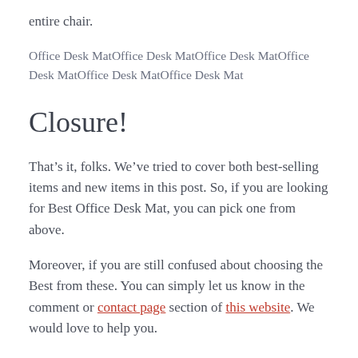entire chair.
Office Desk MatOffice Desk MatOffice Desk MatOffice Desk MatOffice Desk MatOffice Desk Mat
Closure!
That’s it, folks. We’ve tried to cover both best-selling items and new items in this post. So, if you are looking for Best Office Desk Mat, you can pick one from above.
Moreover, if you are still confused about choosing the Best from these. You can simply let us know in the comment or contact page section of this website. We would love to help you.
Related Posts: